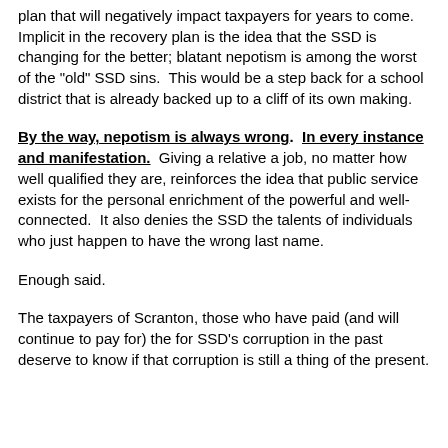plan that will negatively impact taxpayers for years to come. Implicit in the recovery plan is the idea that the SSD is changing for the better; blatant nepotism is among the worst of the "old" SSD sins.  This would be a step back for a school district that is already backed up to a cliff of its own making.
By the way, nepotism is always wrong.  In every instance and manifestation.  Giving a relative a job, no matter how well qualified they are, reinforces the idea that public service exists for the personal enrichment of the powerful and well-connected.  It also denies the SSD the talents of individuals who just happen to have the wrong last name.
Enough said.
The taxpayers of Scranton, those who have paid (and will continue to pay for) the for SSD's corruption in the past deserve to know if that corruption is still a thing of the present.